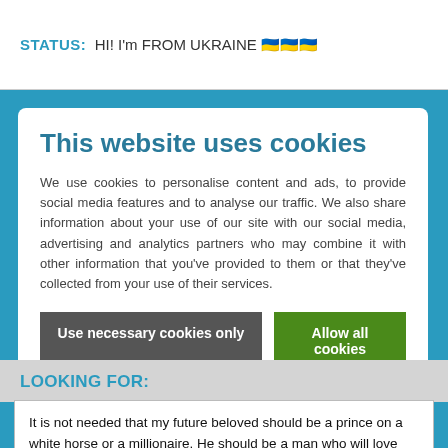STATUS: HI! I'm FROM UKRAINE 🇺🇦🇺🇦🇺🇦
This website uses cookies
We use cookies to personalise content and ads, to provide social media features and to analyse our traffic. We also share information about your use of our site with our social media, advertising and analytics partners who may combine it with other information that you've provided to them or that they've collected from your use of their services.
Use necessary cookies only
Allow all cookies
Show details ∨
LOOKING FOR:
It is not needed that my future beloved should be a prince on a white horse or a millionaire. He should be a man who will love me and take care of me. I will give my love to him. He should like adventure, but dont mind spending a quite and romantic evening at home. He should be serious and responsible on one hand and on